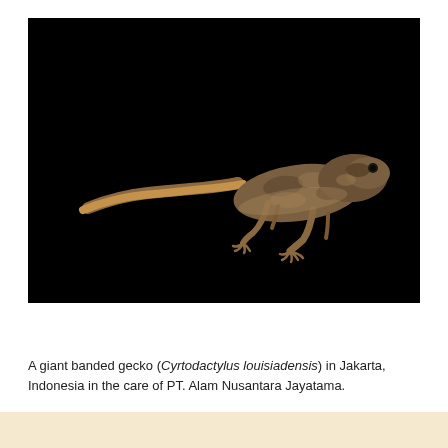[Figure (photo): A giant banded gecko (Cyrtodactylus louisiadensis) photographed against a black background, showing the lizard in profile with its long tail extending to the left.]
PHOTO
ANI066-00123
A giant banded gecko (Cyrtodactylus louisiadensis) in Jakarta, Indonesia in the care of PT. Alam Nusantara Jayatama.